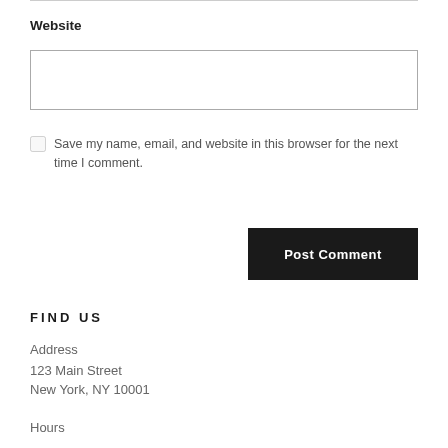Website
Save my name, email, and website in this browser for the next time I comment.
Post Comment
FIND US
Address
123 Main Street
New York, NY 10001
Hours